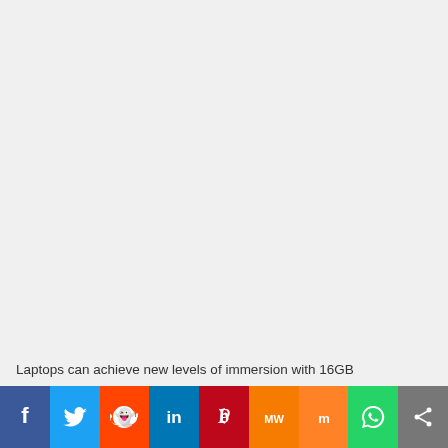Laptops can achieve new levels of immersion with 16GB
[Figure (infographic): Social media sharing bar with icons: Facebook (blue), Twitter (light blue), Reddit (orange-red), LinkedIn (dark blue), Pinterest (red), MediuMWeight/MW (orange), Mix (orange), WhatsApp (green), Share (gray)]